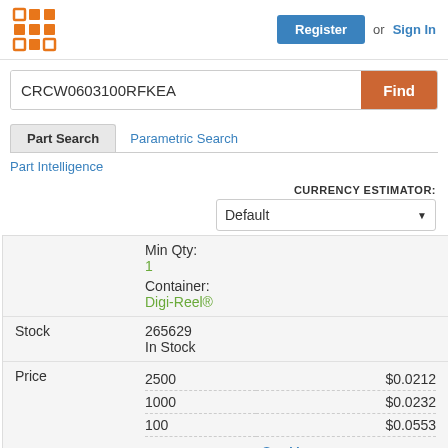[Figure (logo): Orange grid/waffle logo icon]
Register or Sign In
CRCW0603100RFKEA
Find
Part Search
Parametric Search
Part Intelligence
CURRENCY ESTIMATOR:
Default
Min Qty:
1
Container:
Digi-Reel®
Stock
265629
In Stock
| Qty | Price |
| --- | --- |
| 2500 | $0.0212 |
| 1000 | $0.0232 |
| 100 | $0.0553 |
See More
Buy